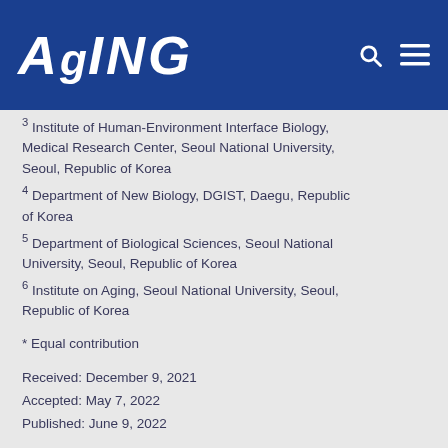AGING
Institute of Human-Environment Interface Biology, Medical Research Center, Seoul National University, Seoul, Republic of Korea
4 Department of New Biology, DGIST, Daegu, Republic of Korea
5 Department of Biological Sciences, Seoul National University, Seoul, Republic of Korea
6 Institute on Aging, Seoul National University, Seoul, Republic of Korea
* Equal contribution
Received: December 9, 2021
Accepted: May 7, 2022
Published: June 9, 2022
https://doi.org/10.18632/aging.204118
How to Cite
Copyright: © 2022 Lee et al. This is an open access